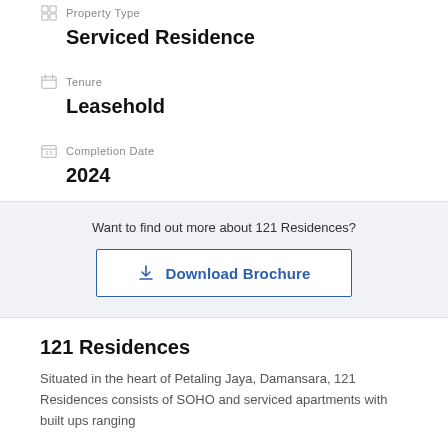Serviced Residence
Tenure
Leasehold
Completion Date
2024
Want to find out more about 121 Residences?
Download Brochure
121 Residences
Situated in the heart of Petaling Jaya, Damansara, 121 Residences consists of SOHO and serviced apartments with built ups ranging